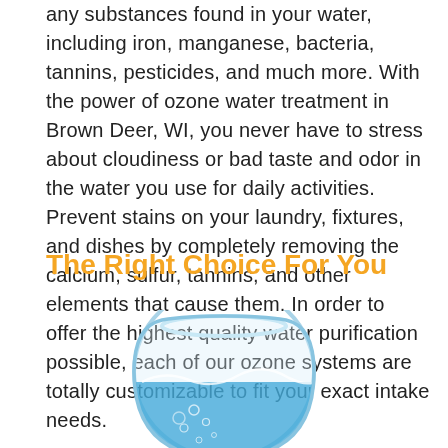any substances found in your water, including iron, manganese, bacteria, tannins, pesticides, and much more. With the power of ozone water treatment in Brown Deer, WI, you never have to stress about cloudiness or bad taste and odor in the water you use for daily activities. Prevent stains on your laundry, fixtures, and dishes by completely removing the calcium, sulfur, tannins, and other elements that cause them. In order to offer the highest quality water purification possible, each of our ozone systems are totally customizable to fit your exact intake needs.
The Right Choice For You
[Figure (photo): A round glass fish bowl filled with clear blue water, showing water splashing and bubbles inside.]